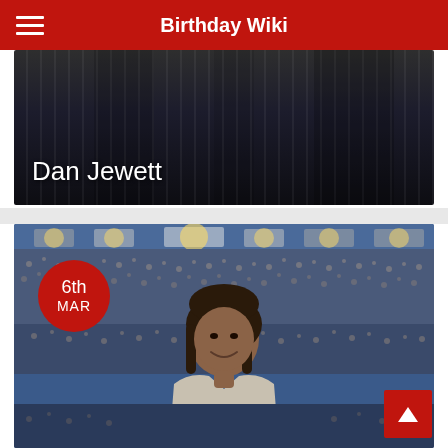Birthday Wiki
[Figure (photo): Dark background with pinstripe texture, name overlay 'Dan Jewett' in white text]
Dan Jewett
[Figure (photo): Woman with brown hair smiling in front of stadium crowd, with red circular date badge showing '6th MAR']
6th MAR